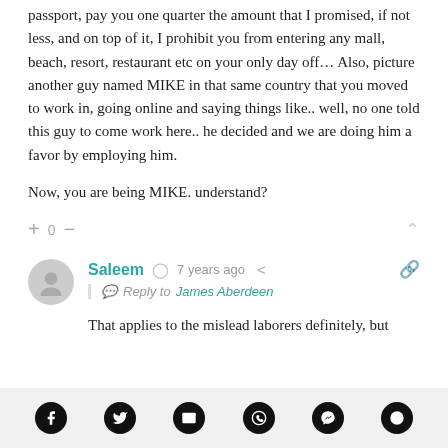passport, pay you one quarter the amount that I promised, if not less, and on top of it, I prohibit you from entering any mall, beach, resort, restaurant etc on your only day off… Also, picture another guy named MIKE in that same country that you moved to work in, going online and saying things like.. well, no one told this guy to come work here.. he decided and we are doing him a favor by employing him.
Now, you are being MIKE. understand?
Saleem · 7 years ago · Reply to James Aberdeen
That applies to the mislead laborers definitely, but